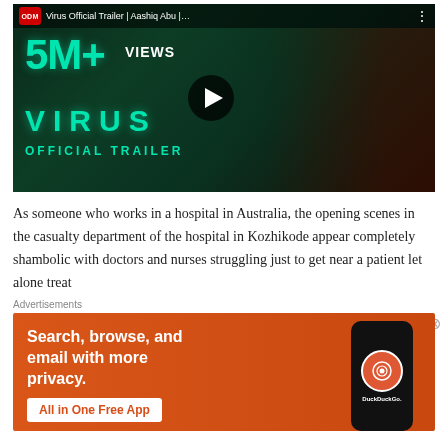[Figure (screenshot): YouTube video thumbnail for 'Virus Official Trailer | Aashiq Abu |...' showing 5M+ VIEWS text in teal, VIRUS OFFICIAL TRAILER text, and faces of actors on dark green/red background with play button overlay]
As someone who works in a hospital in Australia, the opening scenes in the casualty department of the hospital in Kozhikode appear completely shambolic with doctors and nurses struggling just to get near a patient let alone treat
Advertisements
[Figure (screenshot): DuckDuckGo advertisement banner with orange background showing 'Search, browse, and email with more privacy. All in One Free App' text on the left and a phone mockup with DuckDuckGo logo on the right]